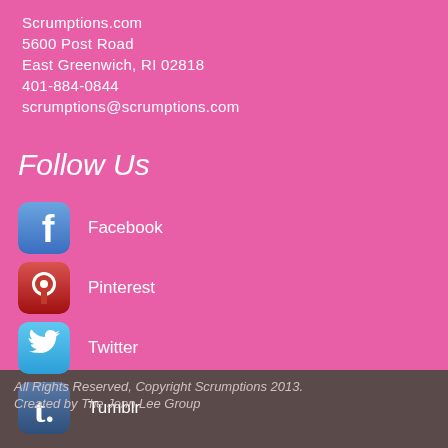Scrumptions.com
5600 Post Road
East Greenwich, RI 02818
401-884-0844
scrumptions@scrumptions.com
Follow Us
Facebook
Pinterest
Twitter
Tumblr
All Rights Reserved, Copyright Scrumptions 2013.
Created by The Jenn Lee Group